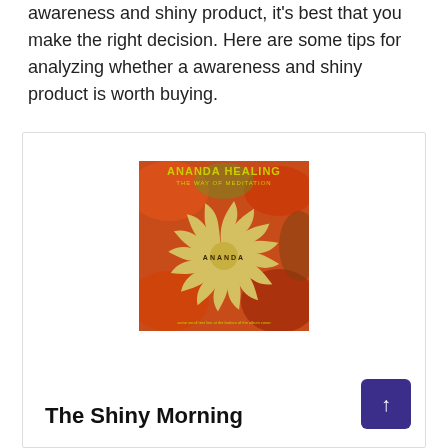awareness and shiny product, it's best that you make the right decision. Here are some tips for analyzing whether a awareness and shiny product is worth buying.
[Figure (illustration): Album cover for 'Ananda Healing - The Way of Meditation' featuring a psychedelic swirl pattern in orange and red tones with cream/gold spiral design and the word ANANDA in the center.]
The Shiny Morning